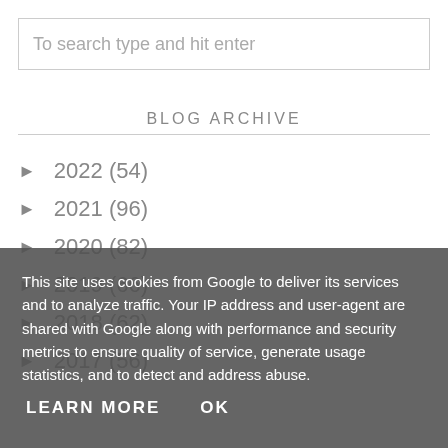To search type and hit enter
BLOG ARCHIVE
► 2022 (54)
► 2021 (96)
► 2020 (82)
► 2019 (66)
► 2018 (62)
► 2017 (56)
This site uses cookies from Google to deliver its services and to analyze traffic. Your IP address and user-agent are shared with Google along with performance and security metrics to ensure quality of service, generate usage statistics, and to detect and address abuse.
LEARN MORE    OK